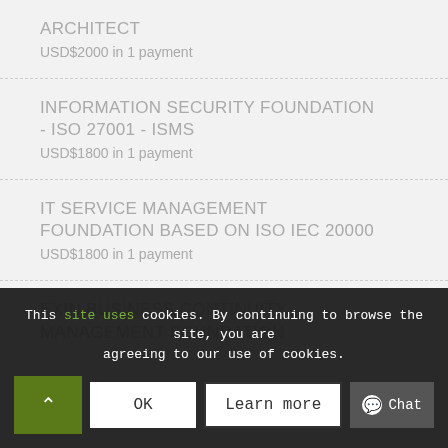ARCHITECT
USD$2000 in 1 payment
INFORMATION SECURITY FOUNDATION - ISO 27001 - ISMS
USD$1800 in 1 payment
IT SERVICE MANAGEMENT FOUNDATION BASED ON ISO IEC 20000
USD$1800 in 1 payment
EXIN BUSINESS CONTINUITY MANAGEMENT FOUNDATION
This site uses cookies. By continuing to browse the site, you are agreeing to our use of cookies.
OK
Learn more
Chat